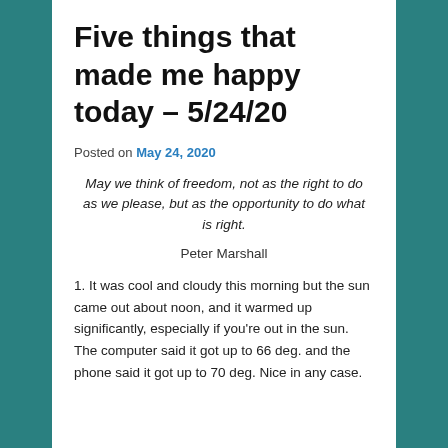Five things that made me happy today – 5/24/20
Posted on May 24, 2020
May we think of freedom, not as the right to do as we please, but as the opportunity to do what is right.
Peter Marshall
1. It was cool and cloudy this morning but the sun came out about noon, and it warmed up significantly, especially if you're out in the sun. The computer said it got up to 66 deg. and the phone said it got up to 70 deg. Nice in any case.